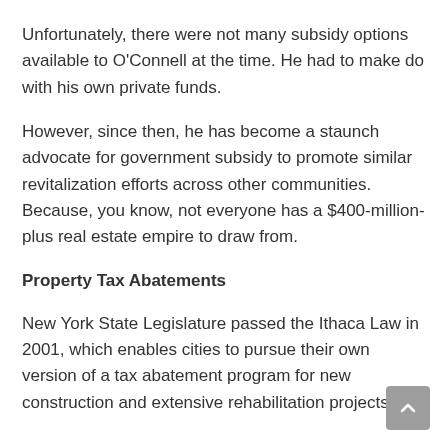Unfortunately, there were not many subsidy options available to O'Connell at the time. He had to make do with his own private funds.
However, since then, he has become a staunch advocate for government subsidy to promote similar revitalization efforts across other communities. Because, you know, not everyone has a $400-million-plus real estate empire to draw from.
Property Tax Abatements
New York State Legislature passed the Ithaca Law in 2001, which enables cities to pursue their own version of a tax abatement program for new construction and extensive rehabilitation projects.